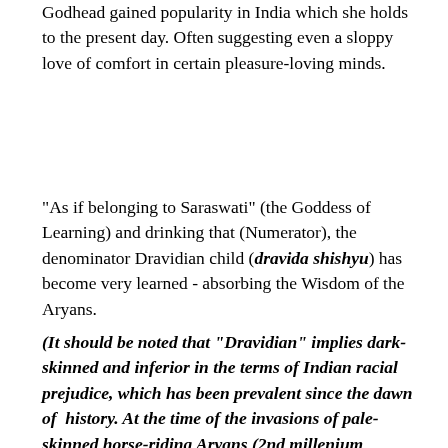Godhead gained popularity in India which she holds to the present day. Often suggesting even a sloppy love of comfort in certain pleasure-loving minds.
"As if belonging to Saraswati" (the Goddess of Learning) and drinking that (Numerator), the denominator Dravidian child (dravida shishyu) has become very learned - absorbing the Wisdom of the Aryans.
(It should be noted that "Dravidian" implies dark-skinned and inferior in the terms of Indian racial prejudice, which has been prevalent since the dawn of  history. At the time of the invasions of pale-skinned horse-riding Aryans (2nd millenium B.C.E.), the original inhabitants, are